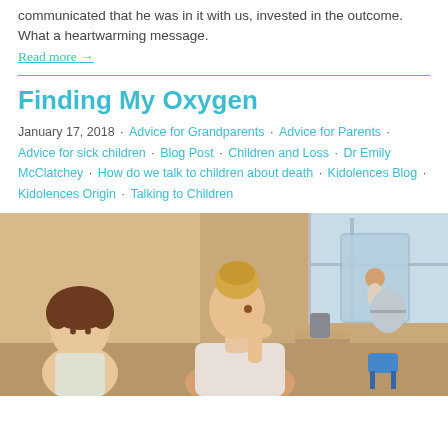communicated that he was in it with us, invested in the outcome. What a heartwarming message.
Read more →
Finding My Oxygen
January 17, 2018 · Advice for Grandparents · Advice for Parents · Advice for sick children · Blog Post · Children and Loss · Dr Emily McClatchey · How do we talk to children about death · Kidolences Blog · Kidolences Origin · Talking to Children
[Figure (photo): A young child with curly hair and a woman with blonde hair up, in a domestic setting. Appears to be a mother-child scene indoors.]